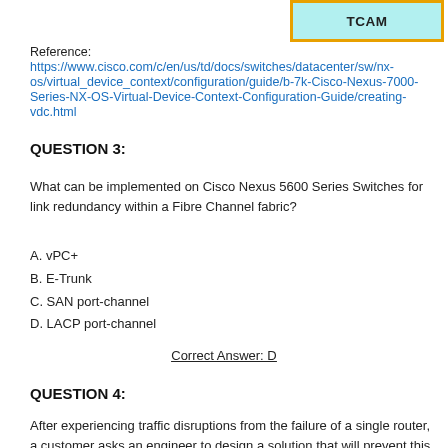[Figure (other): TCAM label box with cyan background and gold/yellow border]
Reference: https://www.cisco.com/c/en/us/td/docs/switches/datacenter/sw/nx-os/virtual_device_context/configuration/guide/b-7k-Cisco-Nexus-7000-Series-NX-OS-Virtual-Device-Context-Configuration-Guide/creating-vdc.html
QUESTION 3:
What can be implemented on Cisco Nexus 5600 Series Switches for link redundancy within a Fibre Channel fabric?
A. vPC+
B. E-Trunk
C. SAN port-channel
D. LACP port-channel
Correct Answer: D
QUESTION 4:
After experiencing traffic disruptions from the failure of a single router, a customer asks an engineer to design a solution that will prevent this from occurring in the future.